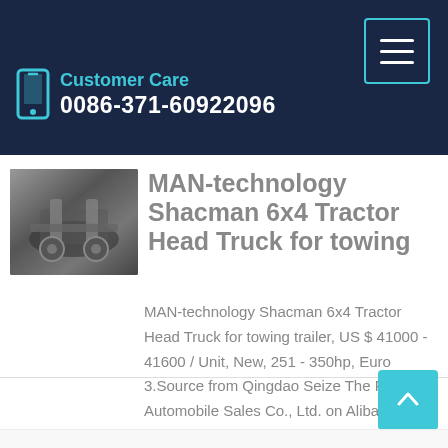Customer Care 0086-371-60922096
MAN-technology Shacman 6x4 Tractor Head Truck for towing
MAN-technology Shacman 6x4 Tractor Head Truck for towing trailer, US $ 41000 - 41600 / Unit, New, 251 - 350hp, Euro 3.Source from Qingdao Seize The Future Automobile Sales Co., Ltd. on Alibaba.com.
Learn More